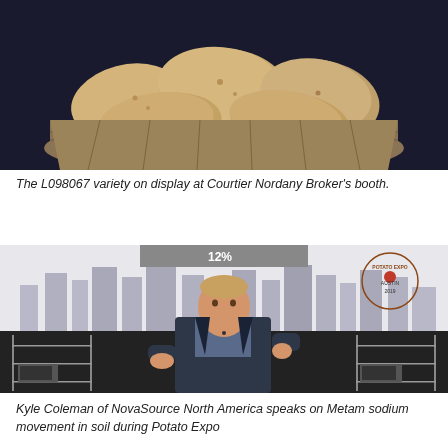[Figure (photo): Basket of potatoes (L098067 variety) displayed at Courtier Nordany Broker's booth.]
The L098067 variety on display at Courtier Nordany Broker's booth.
[Figure (photo): Kyle Coleman of NovaSource North America speaking on stage at Potato Expo. A presentation screen is visible behind him with '12%' text and a Potato Expo Austin logo. Kitchen shelving with appliances is in the background.]
Kyle Coleman of NovaSource North America speaks on Metam sodium movement in soil during Potato Expo 2019.